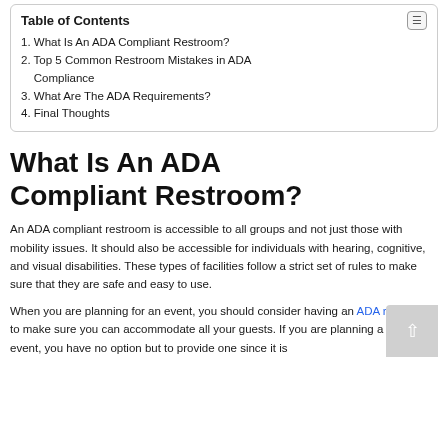1. What Is An ADA Compliant Restroom?
2. Top 5 Common Restroom Mistakes in ADA Compliance
3. What Are The ADA Requirements?
4. Final Thoughts
What Is An ADA Compliant Restroom?
An ADA compliant restroom is accessible to all groups and not just those with mobility issues. It should also be accessible for individuals with hearing, cognitive, and visual disabilities. These types of facilities follow a strict set of rules to make sure that they are safe and easy to use.
When you are planning for an event, you should consider having an ADA restroom to make sure you can accommodate all your guests. If you are planning a public event, you have no option but to provide one since it is